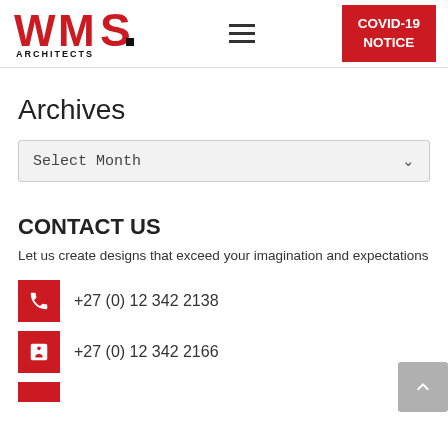[Figure (logo): WMS Architects logo in red and black]
COVID-19 NOTICE
Archives
Select Month
CONTACT US
Let us create designs that exceed your imagination and expectations
+27 (0) 12 342 2138
+27 (0) 12 342 2166